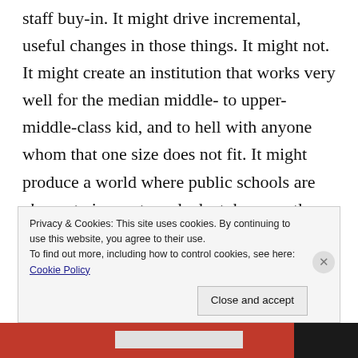staff buy-in. It might drive incremental, useful changes in those things. It might not. It might create an institution that works very well for the median middle- to upper-middle-class kid, and to hell with anyone whom that one size does not fit. It might produce a world where public schools are slower to innovate and adapt, because they exist in a sclerotic top-down bureaucracy and would lack nimbler competitors able to experiment with new models or to present, by their very existence, a
Privacy & Cookies: This site uses cookies. By continuing to use this website, you agree to their use.
To find out more, including how to control cookies, see here: Cookie Policy
Close and accept